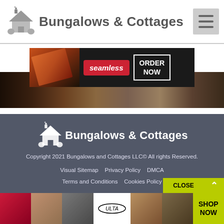Bungalows & Cottages
[Figure (screenshot): Seamless food delivery advertisement banner with pizza image, red seamless logo, and ORDER NOW button]
[Figure (photo): Dark food photography background image spanning full width]
[Figure (logo): Bungalows & Cottages white logo on dark footer]
Copyright 2021 Bungalows and Cottages LLC© All rights Reserved.
Visual Sitemap   Privacy Policy   DMCA   Terms and Conditions   Cookies Policy
[Figure (screenshot): Ulta Beauty advertisement banner with makeup photos and SHOP NOW button]